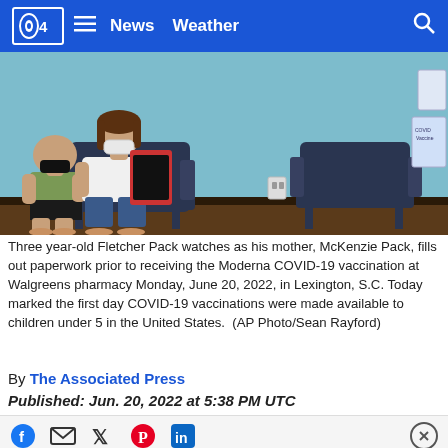CBS4  News  Weather
[Figure (photo): A young boy with a black mask and woman with white mask sitting in chairs in a waiting room with blue walls, looking at paperwork.]
Three year-old Fletcher Pack watches as his mother, McKenzie Pack, fills out paperwork prior to receiving the Moderna COVID-19 vaccination at Walgreens pharmacy Monday, June 20, 2022, in Lexington, S.C. Today marked the first day COVID-19 vaccinations were made available to children under 5 in the United States.  (AP Photo/Sean Rayford)
By The Associated Press
Published: Jun. 20, 2022 at 5:38 PM UTC
Little Fletcher Pack woke up Monday morning and asked: